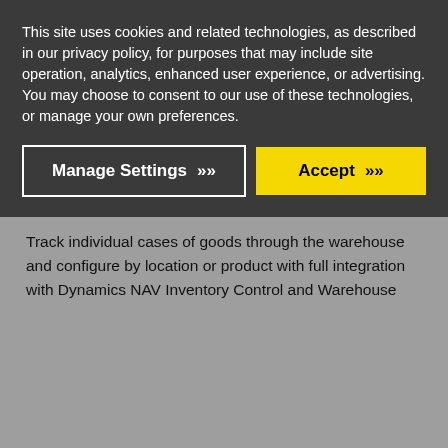This site uses cookies and related technologies, as described in our privacy policy, for purposes that may include site operation, analytics, enhanced user experience, or advertising. You may choose to consent to our use of these technologies, or manage your own preferences.
[Figure (other): Cookie consent dialog with two buttons: 'Manage Settings' (dark background with white border and chevrons) and 'Accept' (yellow background with black text and chevrons)]
Calculate gross margin per product line at budgeted standard costs vs. actual costs, use per count and per weight measures for revenue, cost of sale and margin, and summarize data easily.
Case Tracking
Track individual cases of goods through the warehouse and configure by location or product with full integration with Dynamics NAV Inventory Control and Warehouse